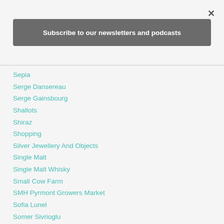×
Subscribe to our newsletters and podcasts
Sepia
Serge Dansereau
Serge Gainsbourg
Shallots
Shiraz
Shopping
Silver Jewellery And Objects
Single Malt
Single Malt Whisky
Small Cow Farm
SMH Pyrmont Growers Market
Sofia Lunel
Somer Sivrioglu
Sophie Marceau
Southern Highlands
Speyside